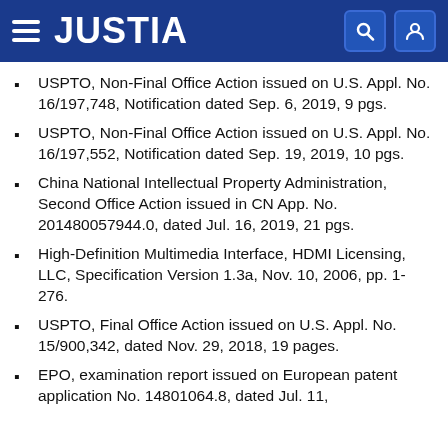JUSTIA
USPTO, Non-Final Office Action issued on U.S. Appl. No. 16/197,748, Notification dated Sep. 6, 2019, 9 pgs.
USPTO, Non-Final Office Action issued on U.S. Appl. No. 16/197,552, Notification dated Sep. 19, 2019, 10 pgs.
China National Intellectual Property Administration, Second Office Action issued in CN App. No. 201480057944.0, dated Jul. 16, 2019, 21 pgs.
High-Definition Multimedia Interface, HDMI Licensing, LLC, Specification Version 1.3a, Nov. 10, 2006, pp. 1-276.
USPTO, Final Office Action issued on U.S. Appl. No. 15/900,342, dated Nov. 29, 2018, 19 pages.
EPO, examination report issued on European patent application No. 14801064.8, dated Jul. 11,